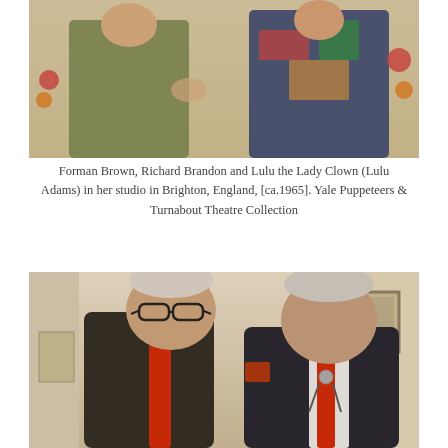[Figure (photo): Historical photograph showing Forman Brown, Richard Brandon and Lulu the Lady Clown (Lulu Adams) in her studio in Brighton, England, ca. 1965. The photo shows people seated together with colorful decorations visible.]
Forman Brown, Richard Brandon and Lulu the Lady Clown (Lulu Adams) in her studio in Brighton, England, [ca.1965]. Yale Puppeteers & Turnabout Theatre Collection
[Figure (photo): Historical color photograph showing two elderly men standing together indoors. The man on the left wears glasses and a black shirt with a red tie. The man on the right wears a dark jacket with a red tie and a bolo tie. A door frame and framed picture are visible in the background.]